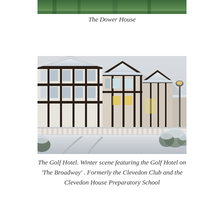[Figure (photo): Partial view of The Dower House, cropped at top of page]
The Dower House
[Figure (photo): Winter scene of the Golf Hotel on 'The Broadway', a Tudor-style building covered in snow with a snowy road in foreground, foggy background]
The Golf Hotel. Winter scene featuring the Golf Hotel on 'The Broadway' . Formerly the Clevedon Club and the Clevedon House Preparatory School